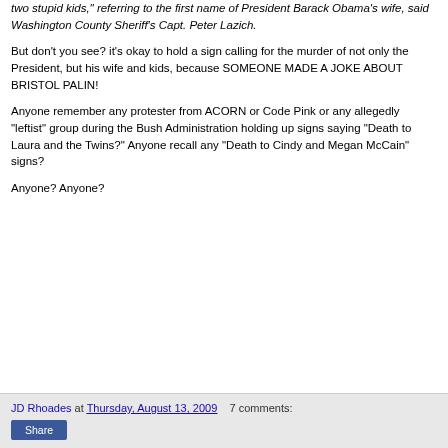two stupid kids," referring to the first name of President Barack Obama's wife, said Washington County Sheriff's Capt. Peter Lazich.
But don't you see? it's okay to hold a sign calling for the murder of not only the President, but his wife and kids, because SOMEONE MADE A JOKE ABOUT BRISTOL PALIN!
Anyone remember any protester from ACORN or Code Pink or any allegedly "leftist" group during the Bush Administration holding up signs saying "Death to Laura and the Twins?" Anyone recall any "Death to Cindy and Megan McCain" signs?
Anyone? Anyone?
JD Rhoades at Thursday, August 13, 2009   7 comments: Share